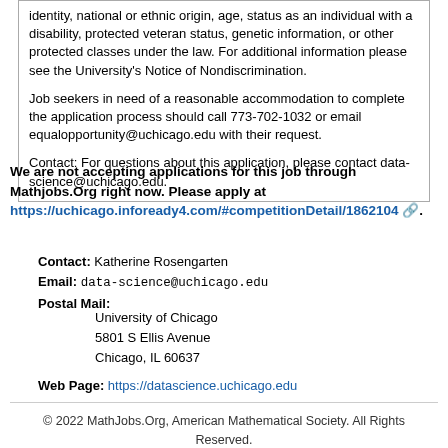identity, national or ethnic origin, age, status as an individual with a disability, protected veteran status, genetic information, or other protected classes under the law. For additional information please see the University's Notice of Nondiscrimination.

Job seekers in need of a reasonable accommodation to complete the application process should call 773-702-1032 or email equalopportunity@uchicago.edu with their request.

Contact: For questions about this application, please contact data-science@uchicago.edu.
We are not accepting applications for this job through Mathjobs.Org right now. Please apply at https://uchicago.infoready4.com/#competitionDetail/1862104 .
Contact: Katherine Rosengarten
Email: data-science@uchicago.edu
Postal Mail:
University of Chicago
5801 S Ellis Avenue
Chicago, IL 60637
Web Page: https://datascience.uchicago.edu
© 2022 MathJobs.Org, American Mathematical Society. All Rights Reserved.